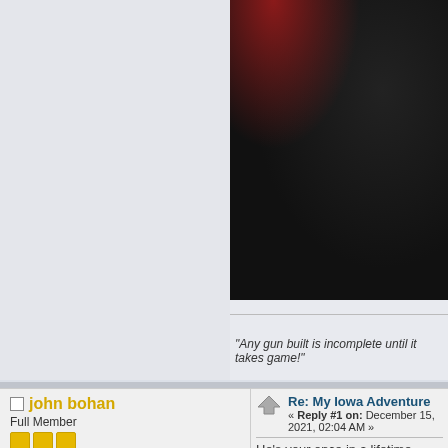[Figure (photo): Close-up dark photo of what appears to be a game animal, with dark fur/hide and reddish tones in upper portion]
"Any gun built is incomplete until it takes game!"
john bohan
Full Member
Posts: 211
Re: My Iowa Adventure
« Reply #1 on: December 15, 2021, 02:04 AM »
He's your once in a lifetime, congratulatio